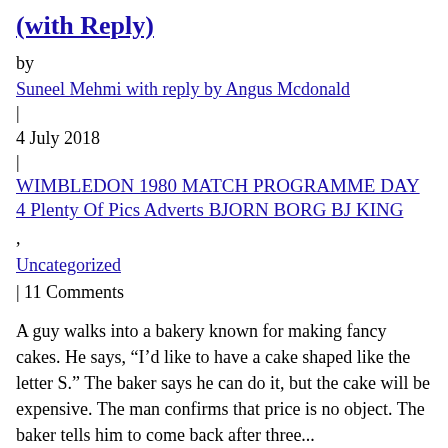(with Reply)
by
Suneel Mehmi with reply by Angus Mcdonald
|
4 July 2018
|
WIMBLEDON 1980 MATCH PROGRAMME DAY 4 Plenty Of Pics Adverts BJORN BORG BJ KING
,
Uncategorized
| 11 Comments
A guy walks into a bakery known for making fancy cakes. He says, “I’d like to have a cake shaped like the letter S.” The baker says he can do it, but the cake will be expensive. The man confirms that price is no object. The baker tells him to come back after three...
Read More
Law is a Fugue
by
Gilbert Leung
|